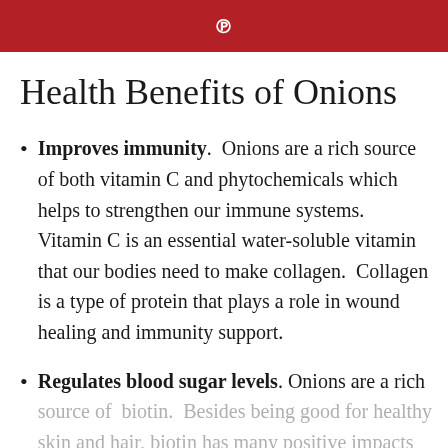Pinterest icon (P)
Health Benefits of Onions
Improves immunity. Onions are a rich source of both vitamin C and phytochemicals which helps to strengthen our immune systems. Vitamin C is an essential water-soluble vitamin that our bodies need to make collagen. Collagen is a type of protein that plays a role in wound healing and immunity support.
Regulates blood sugar levels. Onions are a rich source of biotin. Besides being good for healthy skin and hair, biotin has many positive impacts on...